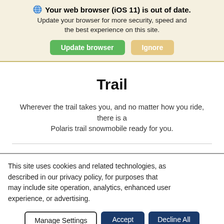🌐 Your web browser (iOS 11) is out of date. Update your browser for more security, speed and the best experience on this site. [Update browser] [Ignore]
Trail
Wherever the trail takes you, and no matter how you ride, there is a Polaris trail snowmobile ready for you.
This site uses cookies and related technologies, as described in our privacy policy, for purposes that may include site operation, analytics, enhanced user experience, or advertising.
[Manage Settings] [Accept] [Decline All]